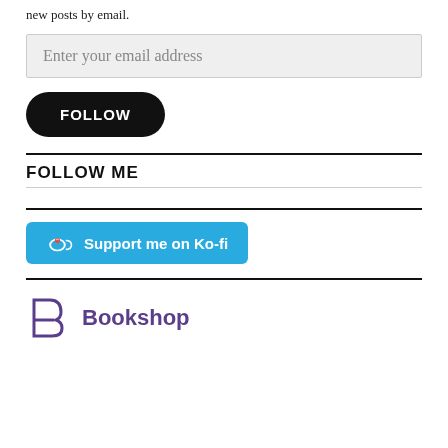new posts by email.
Enter your email address
FOLLOW
FOLLOW ME
[Figure (other): Ko-fi support button: blue rounded rectangle with Ko-fi cup icon and text 'Support me on Ko-fi']
[Figure (logo): Bookshop logo: stylized B in purple/violet with the word 'Bookshop' in dark purple text]